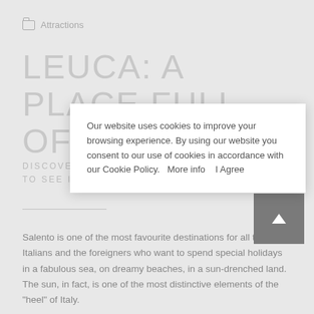Attractions
LEUCA: A PLACE FULL OF ATTRACTIONS
DISCOVER ALL THE BEAUTIES AND THE THINGS TO SEE IN SANTA MARIA DI LEUCA
Our website uses cookies to improve your browsing experience. By using our website you consent to our use of cookies in accordance with our Cookie Policy.   More info   I Agree
Salento is one of the most favourite destinations for all the Italians and the foreigners who want to spend special holidays in a fabulous sea, on dreamy beaches, in a sun-drenched land. The sun, in fact, is one of the most distinctive elements of the "heel" of Italy.
Apulian people are in love with it and cannot conceive how it is